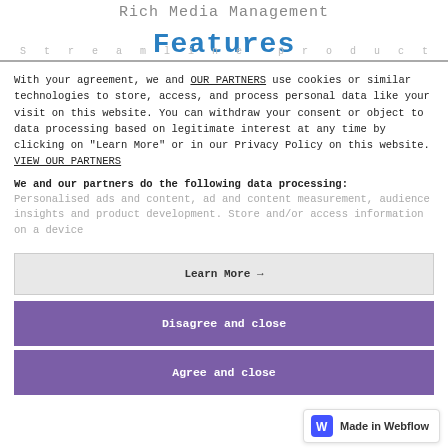Rich Media Management
Features
With your agreement, we and OUR PARTNERS use cookies or similar technologies to store, access, and process personal data like your visit on this website. You can withdraw your consent or object to data processing based on legitimate interest at any time by clicking on "Learn More" or in our Privacy Policy on this website. VIEW OUR PARTNERS
We and our partners do the following data processing: Personalised ads and content, ad and content measurement, audience insights and product development. Store and/or access information on a device
Learn More →
Disagree and close
Agree and close
[Figure (logo): Made in Webflow badge with blue W icon]